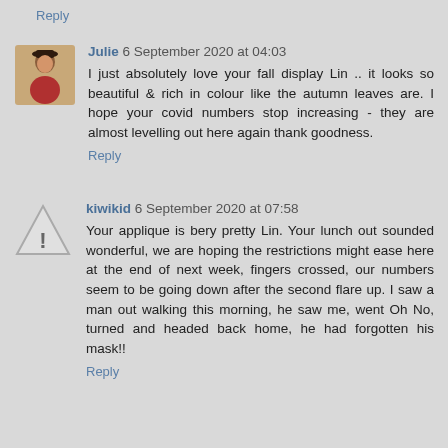Reply
Julie 6 September 2020 at 04:03
I just absolutely love your fall display Lin .. it looks so beautiful & rich in colour like the autumn leaves are. I hope your covid numbers stop increasing - they are almost levelling out here again thank goodness.
Reply
kiwikid 6 September 2020 at 07:58
Your applique is bery pretty Lin. Your lunch out sounded wonderful, we are hoping the restrictions might ease here at the end of next week, fingers crossed, our numbers seem to be going down after the second flare up. I saw a man out walking this morning, he saw me, went Oh No, turned and headed back home, he had forgotten his mask!!
Reply